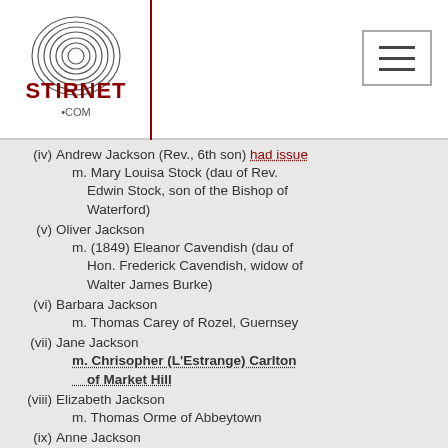[Figure (logo): Stirnet.com logo with fingerprint graphic]
(iv) Andrew Jackson (Rev., 6th son) had issue
m. Mary Louisa Stock (dau of Rev. Edwin Stock, son of the Bishop of Waterford)
(v) Oliver Jackson
m. (1849) Eleanor Cavendish (dau of Hon. Frederick Cavendish, widow of Walter James Burke)
(vi) Barbara Jackson
m. Thomas Carey of Rozel, Guernsey
(vii) Jane Jackson
m. Chrisopher (L'Estrange) Carlton of Market Hill
(viii) Elizabeth Jackson
m. Thomas Orme of Abbeytown
(ix) Anne Jackson
m. William Orme of Glenmore
(x)+ other issue - Francis (Major), Mary, Sarah (d.unm), Belinda Cuff (d.unm)